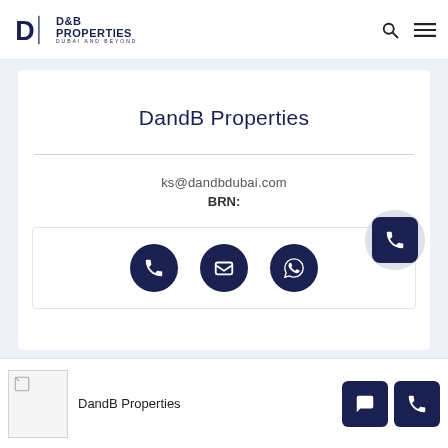D&B Properties — Dubai and Beyond
DandB Properties
ks@dandbdubai.com
BRN:
[Figure (screenshot): Contact action icons row with phone, email, and WhatsApp circular buttons on dark navy background, plus floating phone button]
DandB Properties